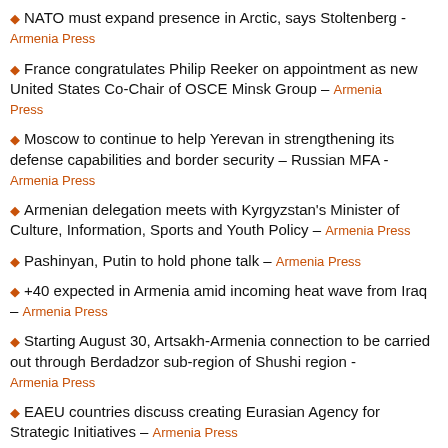NATO must expand presence in Arctic, says Stoltenberg – Armenia Press
France congratulates Philip Reeker on appointment as new United States Co-Chair of OSCE Minsk Group – Armenia Press
Moscow to continue to help Yerevan in strengthening its defense capabilities and border security – Russian MFA – Armenia Press
Armenian delegation meets with Kyrgyzstan's Minister of Culture, Information, Sports and Youth Policy – Armenia Press
Pashinyan, Putin to hold phone talk – Armenia Press
+40 expected in Armenia amid incoming heat wave from Iraq – Armenia Press
Starting August 30, Artsakh-Armenia connection to be carried out through Berdadzor sub-region of Shushi region – Armenia Press
EAEU countries discuss creating Eurasian Agency for Strategic Initiatives – Armenia Press